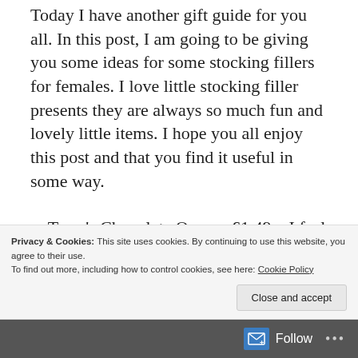Today I have another gift guide for you all. In this post, I am going to be giving you some ideas for some stocking fillers for females. I love little stocking filler presents they are always so much fun and lovely little items. I hope you all enjoy this post and that you find it useful in some way.
Terry's Chocolate Orange £1.49 – I feel like this is classic Christmas stocking filler. I don't think you can go wrong with this
Privacy & Cookies: This site uses cookies. By continuing to use this website, you agree to their use. To find out more, including how to control cookies, see here: Cookie Policy